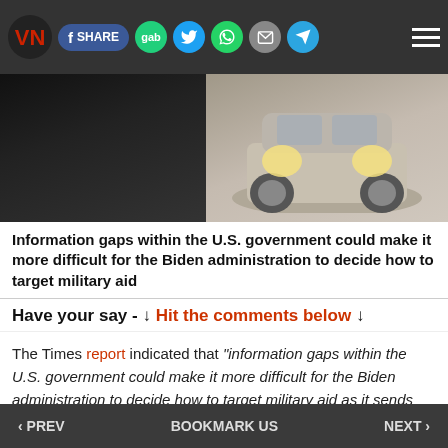VN [logo] | SHARE | gab | twitter | whatsapp | email | telegram | menu
[Figure (photo): Hero image split: dark military vehicle on left, light-colored car front on right]
Information gaps within the U.S. government could make it more difficult for the Biden administration to decide how to target military aid
Have your say - ↓ Hit the comments below ↓
The Times report indicated that "information gaps within the U.S. government could make it more difficult for the Biden administration to decide how to target military aid as it sends billions of dollars in weapons to Ukraine."
‹ PREV | BOOKMARK US | NEXT ›